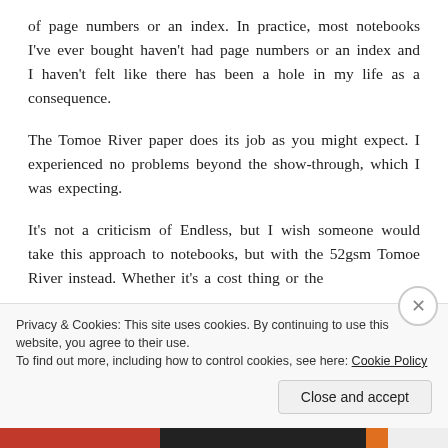of page numbers or an index.  In practice, most notebooks I've ever bought haven't had page numbers or an index and I haven't felt like there has been a hole in my life as a consequence.
The Tomoe River paper does its job as you might expect.  I experienced no problems beyond the show-through, which I was expecting.
It's not a criticism of Endless, but I wish someone would take this approach to notebooks, but with the 52gsm Tomoe River instead.  Whether it's a cost thing or the
Privacy & Cookies: This site uses cookies. By continuing to use this website, you agree to their use.
To find out more, including how to control cookies, see here: Cookie Policy
Close and accept